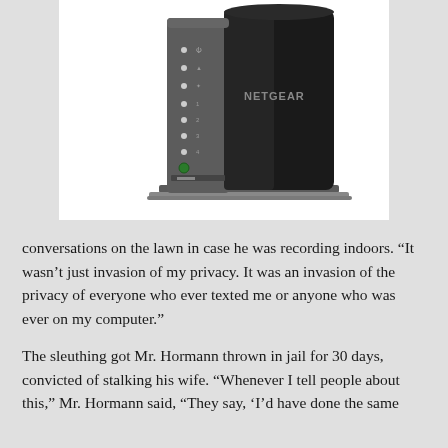[Figure (photo): A Netgear wireless router, dark gray/black in color, standing upright on a metal stand, with LED indicator lights on the left side and the Netgear logo visible on the front panel.]
conversations on the lawn in case he was recording indoors. “It wasn’t just invasion of my privacy. It was an invasion of the privacy of everyone who ever texted me or anyone who was ever on my computer.”
The sleuthing got Mr. Hormann thrown in jail for 30 days, convicted of stalking his wife. “Whenever I tell people about this,” Mr. Hormann said, “They say, ‘I’d have done the same